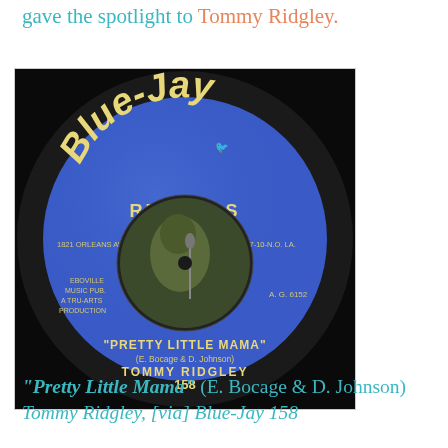gave the spotlight to Tommy Ridgley.
[Figure (photo): Blue-Jay Records vinyl 45 RPM record label for 'Pretty Little Mama' by Tommy Ridgley (record #158). The blue label shows the Blue-Jay Records logo with a bird, address 1821 Orleans Ave., Suite 207-10-N.O. La., credits to Eboville Music Pub. A Tru-Arts Production, catalog number A.G. 6152. Center photo shows Tommy Ridgley performing at a microphone. Bottom text reads 'PRETTY LITTLE MAMA' (E. Bocage & D. Johnson) TOMMY RIDGLEY 158.]
"Pretty Little Mama" (E. Bocage & D. Johnson) Tommy Ridgley, [via] Blue-Jay 158